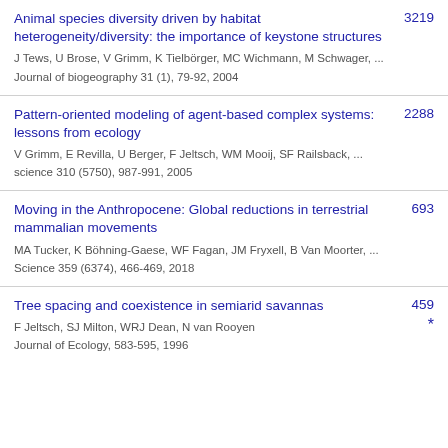Animal species diversity driven by habitat heterogeneity/diversity: the importance of keystone structures | J Tews, U Brose, V Grimm, K Tielbörger, MC Wichmann, M Schwager, ... | Journal of biogeography 31 (1), 79-92, 2004 | 3219
Pattern-oriented modeling of agent-based complex systems: lessons from ecology | V Grimm, E Revilla, U Berger, F Jeltsch, WM Mooij, SF Railsback, ... | science 310 (5750), 987-991, 2005 | 2288
Moving in the Anthropocene: Global reductions in terrestrial mammalian movements | MA Tucker, K Böhning-Gaese, WF Fagan, JM Fryxell, B Van Moorter, ... | Science 359 (6374), 466-469, 2018 | 693
Tree spacing and coexistence in semiarid savannas | F Jeltsch, SJ Milton, WRJ Dean, N van Rooyen | Journal of Ecology, 583-595, 1996 | 459 *